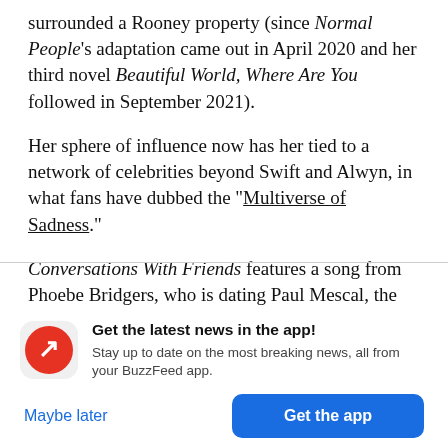surrounded a Rooney property (since Normal People's adaptation came out in April 2020 and her third novel Beautiful World, Where Are You followed in September 2021).
Her sphere of influence now has her tied to a network of celebrities beyond Swift and Alwyn, in what fans have dubbed the "Multiverse of Sadness."
Conversations With Friends features a song from Phoebe Bridgers, who is dating Paul Mescal, the
[Figure (infographic): BuzzFeed app notification banner with red circular logo with white arrow, 'Get the latest news in the app!' headline, body text 'Stay up to date on the most breaking news, all from your BuzzFeed app.', and two buttons: 'Maybe later' (blue text) and 'Get the app' (blue rounded rectangle button).]